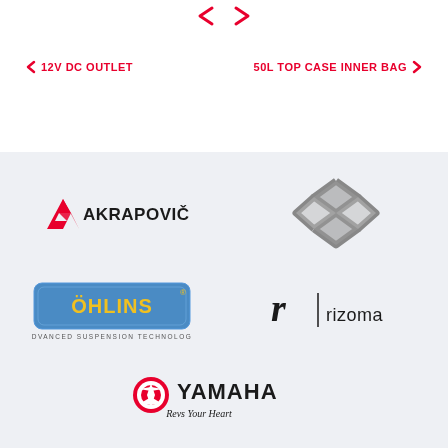[Figure (logo): Navigation arrows (left and right chevrons) in red at top center]
< 12V DC OUTLET
50L TOP CASE INNER BAG >
[Figure (logo): Akrapovic logo - red stylized A with AKRAPOVIC text]
[Figure (logo): Monogram logo - grey interlocked M/G diamond shape]
[Figure (logo): Ohlins logo - yellow text on blue rounded rectangle with ADVANCED SUSPENSION TECHNOLOGY]
[Figure (logo): Rizoma logo - black r symbol with vertical bar and rizoma text]
[Figure (logo): Yamaha logo - red circle emblem with YAMAHA text and Revs Your Heart tagline]